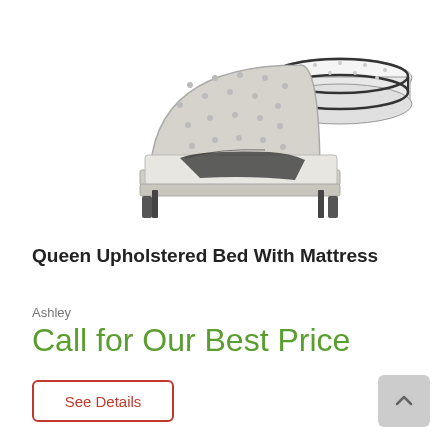[Figure (photo): Product photo showing a queen upholstered bed with tufted headboard in light beige/grey fabric with dark throw blanket, and a white pillow-top mattress shown separately to the right]
Queen Upholstered Bed With Mattress
Ashley
Call for Our Best Price
See Details